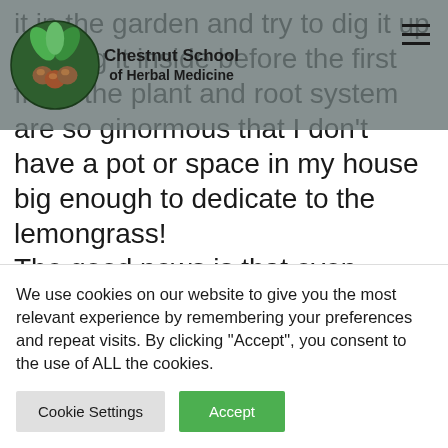Chestnut School of Herbal Medicine
it in the garden and try to dig it up to bring it inside before the first frost, the plant and root system are so ginormous that I don't have a pot or space in my house big enough to dedicate to the lemongrass! The good news is that even though it's a tender annual, it can grow a lot in one year if you water it frequently and plant it in a sunny, warm location. Take cuttings for tea all summer long. Right before the first frost, harvest the whole plant back to the ground and dry it for imbibing tropical
We use cookies on our website to give you the most relevant experience by remembering your preferences and repeat visits. By clicking "Accept", you consent to the use of ALL the cookies.